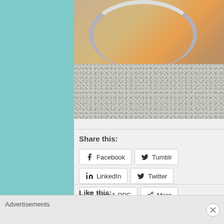[Figure (photo): Food photo showing a plate with food on a granite countertop, partially visible at top of page]
Share this:
Facebook
Tumblr
LinkedIn
Twitter
Print & PDF
More
Like this:
14 bloggers like this.
Advertisements